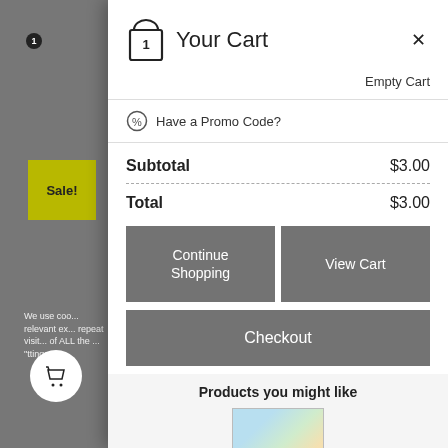[Figure (screenshot): Shopping cart modal overlay on an e-commerce website showing cart contents, subtotal, total, and action buttons]
Your Cart
Empty Cart
Have a Promo Code?
| Subtotal | $3.00 |
| Total | $3.00 |
Continue Shopping
View Cart
Checkout
Products you might like
Celebration · · ·